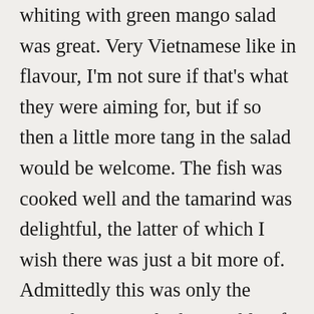whiting with green mango salad was great. Very Vietnamese like in flavour, I'm not sure if that's what they were aiming for, but if so then a little more tang in the salad would be welcome. The fish was cooked well and the tamarind was delightful, the latter of which I wish there was just a bit more of. Admittedly this was only the second time I've had crocodile. If you haven't tasted it before then it's kind of like the mutant love child of a chicken, fish and squid. With a slightly chewy texture and not quite fishy but not quite chicken taste either. The crunch battery was delightful but personally I'm not going to jump